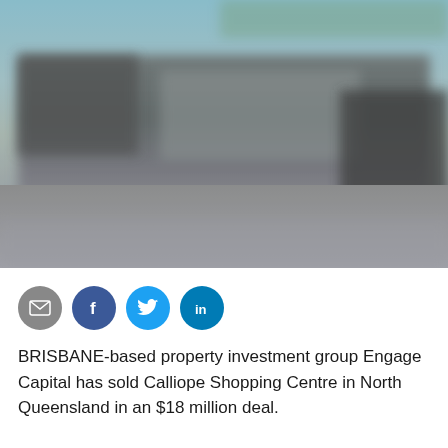[Figure (photo): Blurred exterior photograph of Calliope Shopping Centre, showing a commercial building with a car park area. Image appears greyscale/muted with blue sky visible at top.]
[Figure (infographic): Social sharing icons row: email (grey circle), Facebook (dark blue circle with f), Twitter (light blue circle with bird), LinkedIn (teal circle with 'in')]
BRISBANE-based property investment group Engage Capital has sold Calliope Shopping Centre in North Queensland in an $18 million deal.